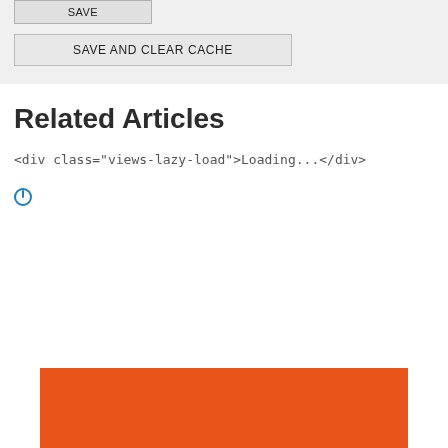[Figure (screenshot): A SAVE button with grey background and border, partially visible at the top of the page]
[Figure (screenshot): A SAVE AND CLEAR CACHE button with grey background and border]
Related Articles
<div class="views-lazy-load">Loading...</div>
[Figure (other): A blue circular icon/power symbol]
[Figure (other): An orange/red-orange solid color rectangular block at the bottom of the page]